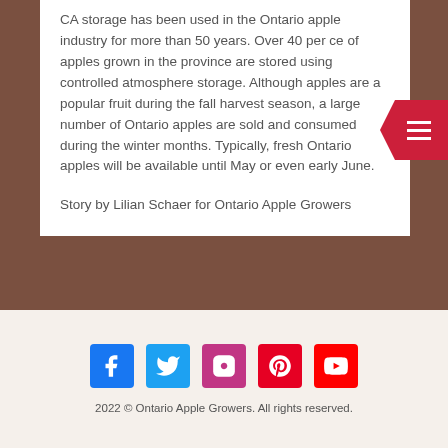CA storage has been used in the Ontario apple industry for more than 50 years. Over 40 per cent of apples grown in the province are stored using controlled atmosphere storage. Although apples are a popular fruit during the fall harvest season, a large number of Ontario apples are sold and consumed during the winter months. Typically, fresh Ontario apples will be available until May or even early June.
Story by Lilian Schaer for Ontario Apple Growers
[Figure (other): Social media icons: Facebook (blue), Twitter (light blue), Instagram (pink/magenta), Pinterest (red), YouTube (red)]
2022 © Ontario Apple Growers. All rights reserved.